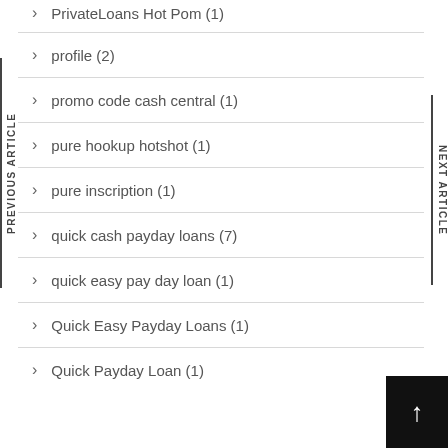PrivateLoans Hot Pom (1)
profile (2)
promo code cash central (1)
pure hookup hotshot (1)
pure inscription (1)
quick cash payday loans (7)
quick easy pay day loan (1)
Quick Easy Payday Loans (1)
Quick Payday Loan (1)